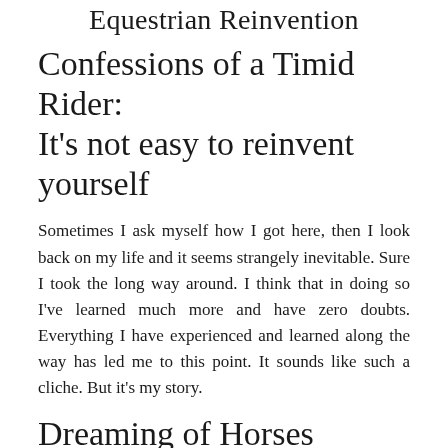Equestrian Reinvention
Confessions of a Timid Rider: It's not easy to reinvent yourself
Sometimes I ask myself how I got here, then I look back on my life and it seems strangely inevitable. Sure I took the long way around. I think that in doing so I've learned much more and have zero doubts. Everything I have experienced and learned along the way has led me to this point. It sounds like such a cliche. But it's my story.
Dreaming of Horses
I grew up in an affluent, suburban New Jersey town where the world was my oyster. I was that kid that pretended I